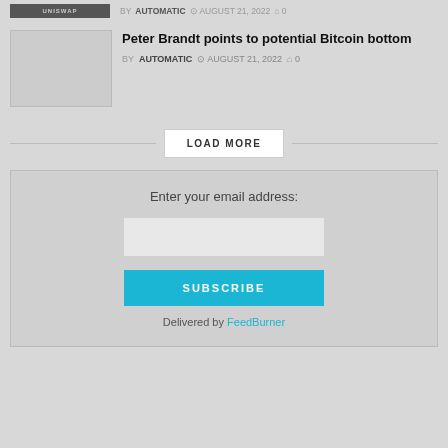BY AUTOMATIC  AUGUST 21, 2022  0
[Figure (photo): Thumbnail image for article about Uniswap with dark background and logo text]
Peter Brandt points to potential Bitcoin bottom
BY AUTOMATIC  AUGUST 21, 2022  0
LOAD MORE
Enter your email address:
SUBSCRIBE
Delivered by FeedBurner